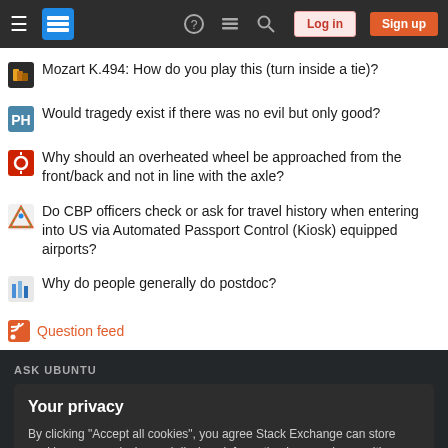Stack Exchange navigation bar with Log in and Sign up buttons
Mozart K.494: How do you play this (turn inside a tie)?
Would tragedy exist if there was no evil but only good?
Why should an overheated wheel be approached from the front/back and not in line with the axle?
Do CBP officers check or ask for travel history when entering into US via Automated Passport Control (Kiosk) equipped airports?
Why do people generally do postdoc?
Question feed
ASK UBUNTU
Your privacy
By clicking "Accept all cookies", you agree Stack Exchange can store cookies on your device and disclose information in accordance with our Cookie Policy.
Accept all cookies | Customize settings